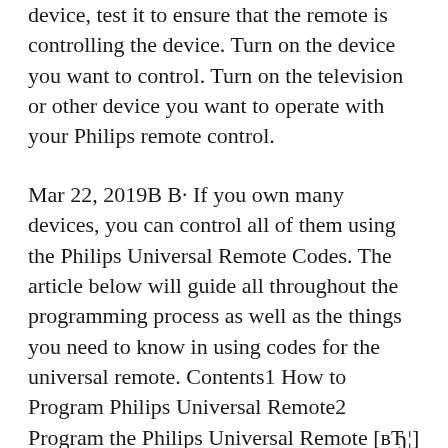device, test it to ensure that the remote is controlling the device. Turn on the device you want to control. Turn on the television or other device you want to operate with your Philips remote control.
Mar 22, 2019В В· If you own many devices, you can control all of them using the Philips Universal Remote Codes. The article below will guide all throughout the programming process as well as the things you need to know in using codes for the universal remote. Contents1 How to Program Philips Universal Remote2 Program the Philips Universal Remote [вЂ¦] Congratulations on your purchase of the Philips SRP5107 universal remote control. After setting up the remote control you can operate up to 7